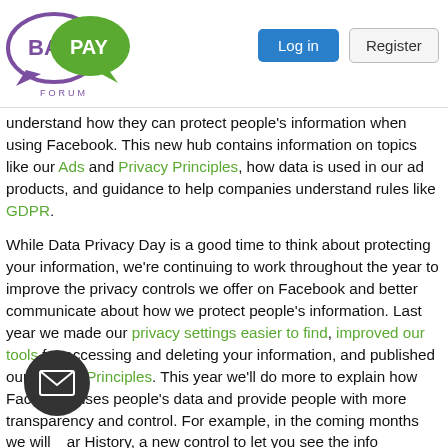BayPay Forum — Log in | Register
understand how they can protect people's information when using Facebook. This new hub contains information on topics like our Ads and Privacy Principles, how data is used in our ad products, and guidance to help companies understand rules like GDPR.
While Data Privacy Day is a good time to think about protecting your information, we're continuing to work throughout the year to improve the privacy controls we offer on Facebook and better communicate about how we protect people's information. Last year we made our privacy settings easier to find, improved our tools for accessing and deleting your information, and published our Privacy Principles. This year we'll do more to explain how Facebook uses people's data and provide people with more transparency and control. For example, in the coming months we will [C]ar History, a new control to let you see the info[rmation w]e get about your activity on other apps and websites, and disconnect that information from your account.